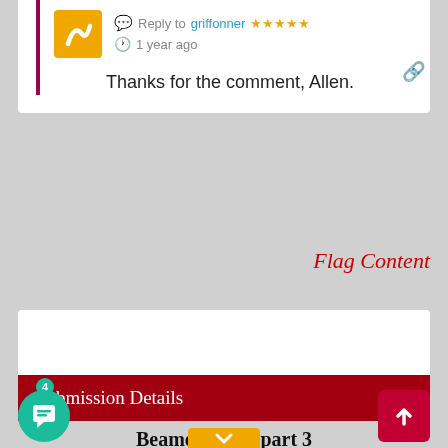Reply to griffonner *****
1 year ago
Thanks for the comment, Allen.
Flag Content
Submission Details
Beamo's Gold part 3 by ChairmanWow